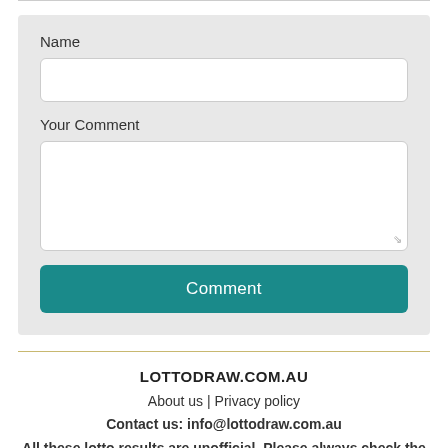Name
Your Comment
Comment
LOTTODRAW.COM.AU
About us | Privacy policy
Contact us: info@lottodraw.com.au
All these lotto results are unofficial. Please always check the official site for lottery results.